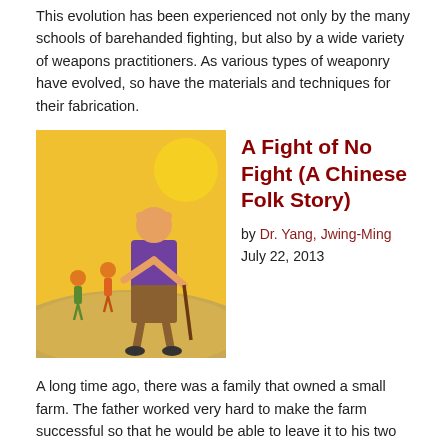This evolution has been experienced not only by the many schools of barehanded fighting, but also by a wide variety of weapons practitioners. As various types of weaponry have evolved, so have the materials and techniques for their fabrication.
[Figure (illustration): Cartoon illustration of a man with a cane shielding his eyes from the sun, with two smaller figures in the background on a hill]
A Fight of No Fight (A Chinese Folk Story)
by Dr. Yang, Jwing-Ming
July 22, 2013
A long time ago, there was a family that owned a small farm. The father worked very hard to make the farm successful so that he would be able to leave it to his two sons when he died. The elder son, who was married, was named Der-Shin, while the younger son, who was not married, was named Der-Yi.
[Figure (photo): Black and white photo of a person in dark martial arts clothing performing a high kick outdoors near a wooden building]
Popular Chinese Internal Martial Arts
by Dr. Yang, Jwing-Ming
July 8, 2013
Because all Chinese martial styles utilize some Qigong training, it